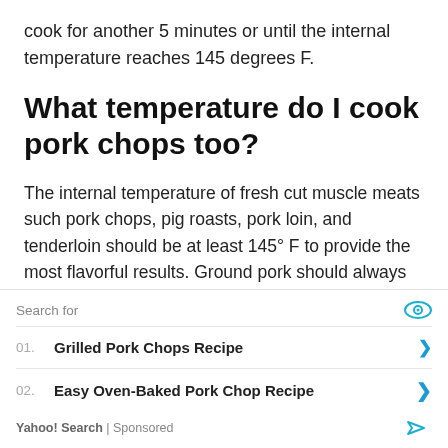cook for another 5 minutes or until the internal temperature reaches 145 degrees F.
What temperature do I cook pork chops too?
The internal temperature of fresh cut muscle meats such pork chops, pig roasts, pork loin, and tenderloin should be at least 145° F to provide the most flavorful results. Ground pork should always be cooked to a
Search for
01. Grilled Pork Chops Recipe
02. Easy Oven-Baked Pork Chop Recipe
Yahoo! Search | Sponsored